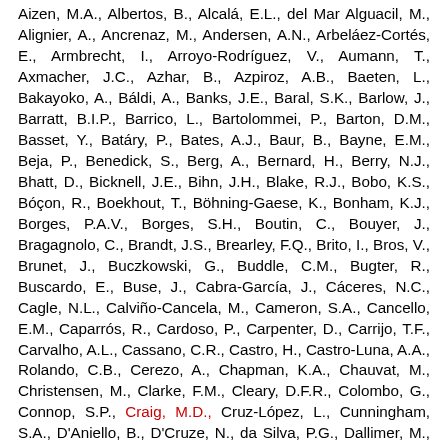Aizen, M.A., Albertos, B., Alcalá, E.L., del Mar Alguacil, M., Alignier, A., Ancrenaz, M., Andersen, A.N., Arbeláez-Cortés, E., Armbrecht, I., Arroyo-Rodríguez, V., Aumann, T., Axmacher, J.C., Azhar, B., Azpiroz, A.B., Baeten, L., Bakayoko, A., Báldi, A., Banks, J.E., Baral, S.K., Barlow, J., Barratt, B.I.P., Barrico, L., Bartolommei, P., Barton, D.M., Basset, Y., Batáry, P., Bates, A.J., Baur, B., Bayne, E.M., Beja, P., Benedick, S., Berg, A., Bernard, H., Berry, N.J., Bhatt, D., Bicknell, J.E., Bihn, J.H., Blake, R.J., Bobo, K.S., Bóçon, R., Boekhout, T., Böhning-Gaese, K., Bonham, K.J., Borges, P.A.V., Borges, S.H., Boutin, C., Bouyer, J., Bragagnolo, C., Brandt, J.S., Brearley, F.Q., Brito, I., Bros, V., Brunet, J., Buczkowski, G., Buddle, C.M., Bugter, R., Buscardo, E., Buse, J., Cabra-García, J., Cáceres, N.C., Cagle, N.L., Calviño-Cancela, M., Cameron, S.A., Cancello, E.M., Caparrós, R., Cardoso, P., Carpenter, D., Carrijo, T.F., Carvalho, A.L., Cassano, C.R., Castro, H., Castro-Luna, A.A., Rolando, C.B., Cerezo, A., Chapman, K.A., Chauvat, M., Christensen, M., Clarke, F.M., Cleary, D.F.R., Colombo, G., Connop, S.P., Craig, M.D., Cruz-López, L., Cunningham, S.A., D'Aniello, B., D'Cruze, N., da Silva, P.G., Dallimer, M., Danquah, E.Y., Darvill, B.,